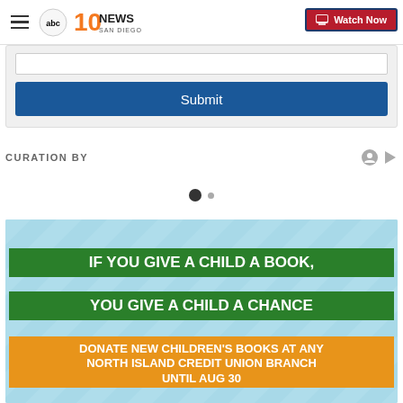ABC 10 News San Diego — Watch Now
[Figure (screenshot): Input field (form text input box)]
[Figure (screenshot): Submit button, blue background with white text 'Submit']
CURATION BY
[Figure (other): Carousel navigation dots — one filled dark circle and one small grey dot]
[Figure (illustration): Advertisement banner: light blue background with diagonal stripe pattern. Green banner text: 'IF YOU GIVE A CHILD A BOOK, YOU GIVE A CHILD A CHANCE'. Orange banner text: 'DONATE NEW CHILDREN'S BOOKS AT ANY NORTH ISLAND CREDIT UNION BRANCH UNTIL AUG 30']